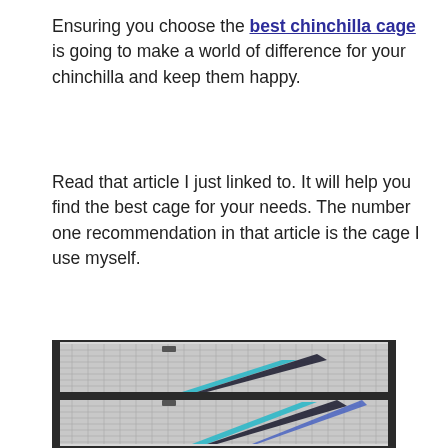Ensuring you choose the best chinchilla cage is going to make a world of difference for your chinchilla and keep them happy.
Read that article I just linked to. It will help you find the best cage for your needs. The number one recommendation in that article is the cage I use myself.
[Figure (photo): A tall multi-level metal wire chinchilla cage with dark frame, featuring teal and blue diagonal ramp/shelf decorations visible through the wire mesh panels. The cage has two main sections visible.]